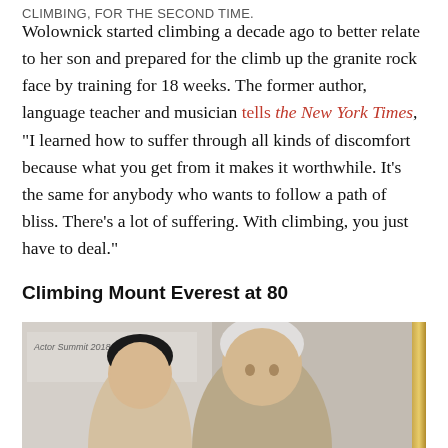CLIMBING, FOR THE SECOND TIME.
Wolownick started climbing a decade ago to better relate to her son and prepared for the climb up the granite rock face by training for 18 weeks. The former author, language teacher and musician tells the New York Times, "I learned how to suffer through all kinds of discomfort because what you get from it makes it worthwhile. It's the same for anybody who wants to follow a path of bliss. There's a lot of suffering. With climbing, you just have to deal."
Climbing Mount Everest at 80
[Figure (photo): Two people posing together in front of a banner reading 'Actor Summit' in a room with a gold-framed wall decoration. One person has dark hair (left) and the other has white/grey hair (right).]